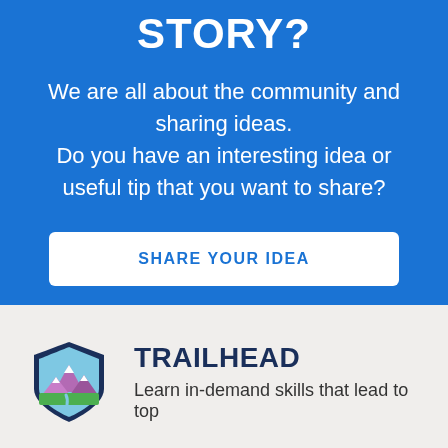STORY?
We are all about the community and sharing ideas. Do you have an interesting idea or useful tip that you want to share?
SHARE YOUR IDEA
[Figure (logo): Trailhead logo: shield-shaped badge with mountain peaks and a winding path on a blue and green background]
TRAILHEAD
Learn in-demand skills that lead to top